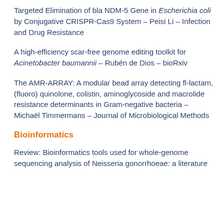Targeted Elimination of bla NDM-5 Gene in Escherichia coli by Conjugative CRISPR-Cas9 System – Peisi Li – Infection and Drug Resistance
A high-efficiency scar-free genome editing toolkit for Acinetobacter baumannii – Rubén de Dios – bioRxiv
The AMR-ARRAY: A modular bead array detecting fl-lactam, (fluoro) quinolone, colistin, aminoglycoside and macrolide resistance determinants in Gram-negative bacteria – Michaël Timmermans – Journal of Microbiological Methods
Bioinformatics
Review: Bioinformatics tools used for whole-genome sequencing analysis of Neisseria gonorrhoeae: a literature